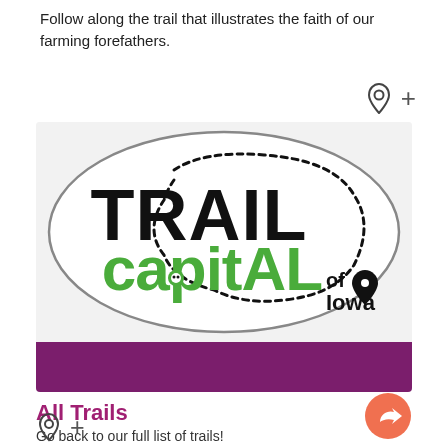Follow along the trail that illustrates the faith of our farming forefathers.
[Figure (logo): Trail Capital of Iowa logo inside an oval with dotted trail path and location pin icon, with a purple bar at bottom]
All Trails
Go back to our full list of trails!